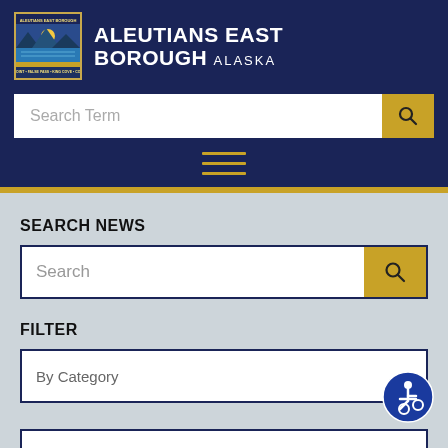[Figure (logo): Aleutians East Borough Alaska official logo with navy background and gold border]
ALEUTIANS EAST BOROUGH ALASKA
[Figure (screenshot): Search Term input bar with gold search button]
[Figure (other): Hamburger menu icon with three gold horizontal lines]
SEARCH NEWS
[Figure (screenshot): Search input bar with gold search button]
FILTER
By Category